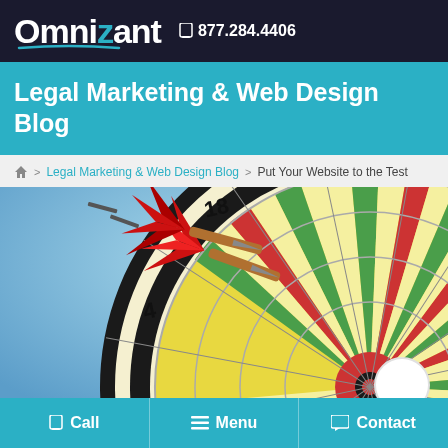Omnizant   877.284.4406
Legal Marketing & Web Design Blog
Home > Legal Marketing & Web Design Blog > Put Your Website to the Test
[Figure (photo): Close-up photo of a red dart hitting the center bullseye of a colorful dartboard against a blue sky background, with a white circular chat button overlay in the bottom right.]
Call   Menu   Contact